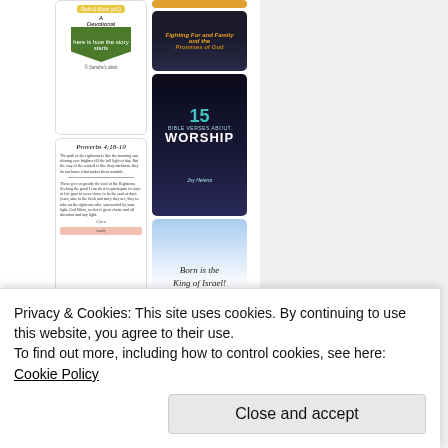[Figure (screenshot): Pinterest-style grid of religious/devotional image cards including Ruth & Boaz devotional, Proverbs scripture, worship bible verses, Christmas card, and motivational Christian content]
Privacy & Cookies: This site uses cookies. By continuing to use this website, you agree to their use.
To find out more, including how to control cookies, see here: Cookie Policy
Close and accept